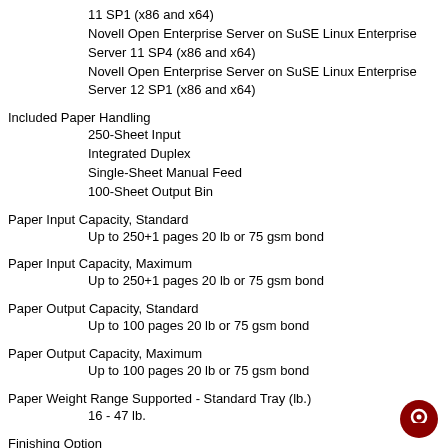11 SP1 (x86 and x64)
Novell Open Enterprise Server on SuSE Linux Enterprise Server 11 SP4 (x86 and x64)
Novell Open Enterprise Server on SuSE Linux Enterprise Server 12 SP1 (x86 and x64)
Included Paper Handling
250-Sheet Input
Integrated Duplex
Single-Sheet Manual Feed
100-Sheet Output Bin
Paper Input Capacity, Standard
Up to 250+1 pages 20 lb or 75 gsm bond
Paper Input Capacity, Maximum
Up to 250+1 pages 20 lb or 75 gsm bond
Paper Output Capacity, Standard
Up to 100 pages 20 lb or 75 gsm bond
Paper Output Capacity, Maximum
Up to 100 pages 20 lb or 75 gsm bond
Paper Weight Range Supported - Standard Tray (lb.)
16 - 47 lb.
Finishing Option
No